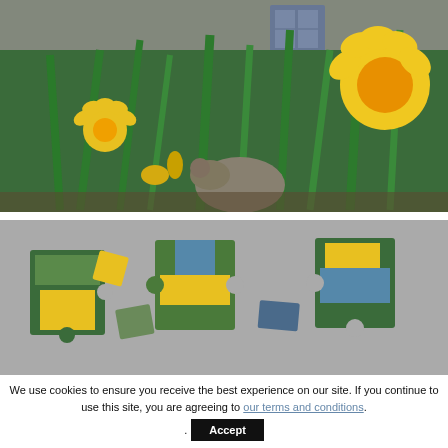[Figure (photo): Photograph of yellow daffodil flowers in front of a stone building with a blue window, with a cat or small animal visible among the plants]
[Figure (photo): Screenshot of a jigsaw puzzle website showing the same daffodil photo broken into puzzle pieces, with 'Lake District, England' label overlay]
We use cookies to ensure you receive the best experience on our site. If you continue to use this site, you are agreeing to our terms and conditions.